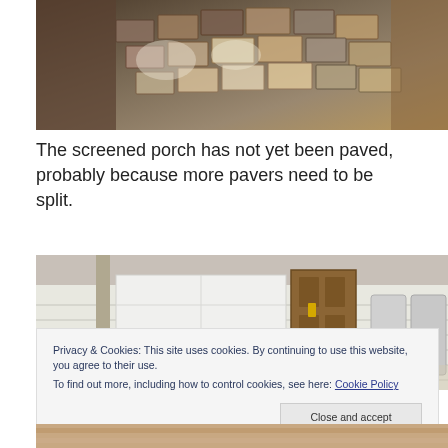[Figure (photo): Overhead/angled view of partially paved area with brick/stone pavers laid out on ground, showing dirt and scattered stones]
The screened porch has not yet been paved, probably because more pavers need to be split.
[Figure (photo): View of a porch or covered outdoor area showing a white garage door, brown wooden door, white siding, folding chairs on the right, and a vehicle tire on the left]
Privacy & Cookies: This site uses cookies. By continuing to use this website, you agree to their use.
To find out more, including how to control cookies, see here: Cookie Policy
Close and accept
[Figure (photo): Partial view of a surface, appears to be pink/salmon colored material or ground]